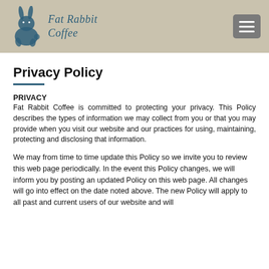Fat Rabbit Coffee — navigation header with logo and hamburger menu
Privacy Policy
PRIVACY
Fat Rabbit Coffee is committed to protecting your privacy. This Policy describes the types of information we may collect from you or that you may provide when you visit our website and our practices for using, maintaining, protecting and disclosing that information.
We may from time to time update this Policy so we invite you to review this web page periodically. In the event this Policy changes, we will inform you by posting an updated Policy on this web page. All changes will go into effect on the date noted above. The new Policy will apply to all past and current users of our website and will